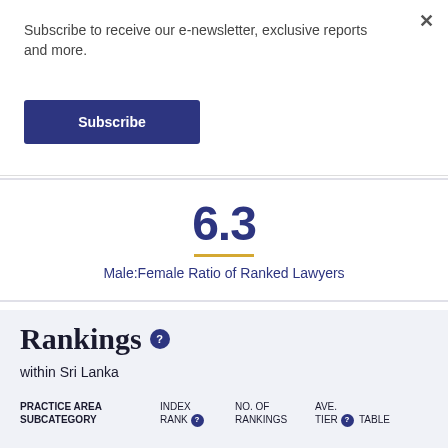Subscribe to receive our e-newsletter, exclusive reports and more.
Subscribe
6.3
Male:Female Ratio of Ranked Lawyers
Rankings
within Sri Lanka
| PRACTICE AREA SUBCATEGORY | INDEX RANK | NO. OF RANKINGS | AVE. TIER | TABLE |
| --- | --- | --- | --- | --- |